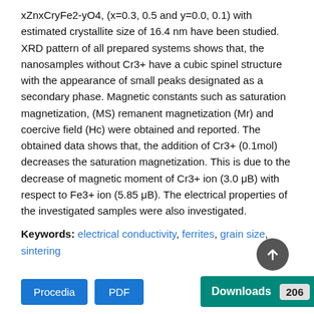xZnxCryFe2-yO4, (x=0.3, 0.5 and y=0.0, 0.1) with estimated crystallite size of 16.4 nm have been studied. XRD pattern of all prepared systems shows that, the nanosamples without Cr3+ have a cubic spinel structure with the appearance of small peaks designated as a secondary phase. Magnetic constants such as saturation magnetization, (MS) remanent magnetization (Mr) and coercive field (Hc) were obtained and reported. The obtained data shows that, the addition of Cr3+ (0.1mol) decreases the saturation magnetization. This is due to the decrease of magnetic moment of Cr3+ ion (3.0 μB) with respect to Fe3+ ion (5.85 μB). The electrical properties of the investigated samples were also investigated.
Keywords: electrical conductivity, ferrites, grain size, sintering